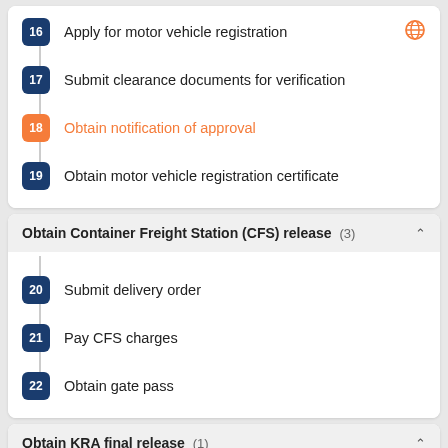16  Apply for motor vehicle registration
17  Submit clearance documents for verification
18  Obtain notification of approval
19  Obtain motor vehicle registration certificate
Obtain Container Freight Station (CFS) release (3)
20  Submit delivery order
21  Pay CFS charges
22  Obtain gate pass
Obtain KRA final release (1)
23  Physical release of consignment